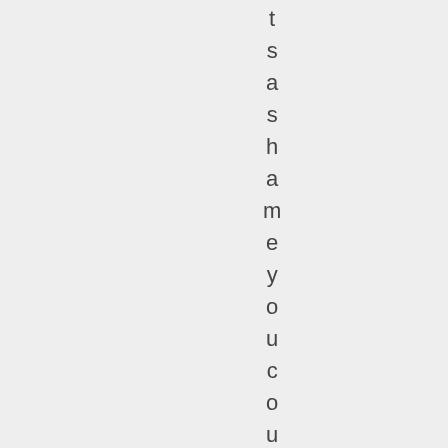t s a s h a m e y o u c o u l d